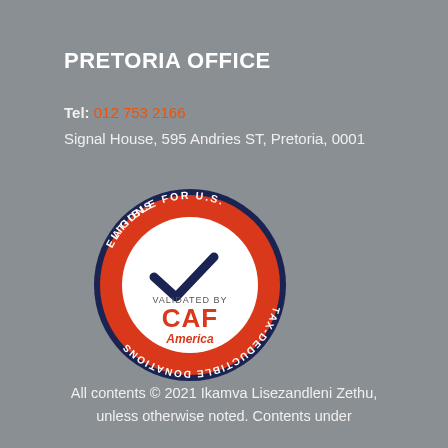PRETORIA OFFICE
Tel: 012 753 2166
Signal House, 595 Andries ST, Pretoria, 0001
[Figure (logo): CAF America seal: circular badge with dark navy border, red background ring with white curved text reading 'ELIGIBLE FOR U.S. TAX-DEDUCTIBLE DONATIONS', white inner circle with red text 'VALIDATED BY CAF America' and a checkmark]
All contents © 2021 Ikamva Lisezandleni Zethu, unless otherwise noted. Contents under